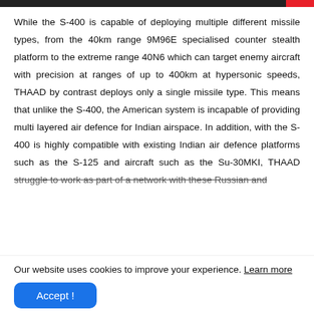While the S-400 is capable of deploying multiple different missile types, from the 40km range 9M96E specialised counter stealth platform to the extreme range 40N6 which can target enemy aircraft with precision at ranges of up to 400km at hypersonic speeds, THAAD by contrast deploys only a single missile type. This means that unlike the S-400, the American system is incapable of providing multi layered air defence for Indian airspace. In addition, with the S-400 is highly compatible with existing Indian air defence platforms such as the S-125 and aircraft such as the Su-30MKI, THAAD struggle to work as part of a network with these Russian and
Our website uses cookies to improve your experience. Learn more
Accept !